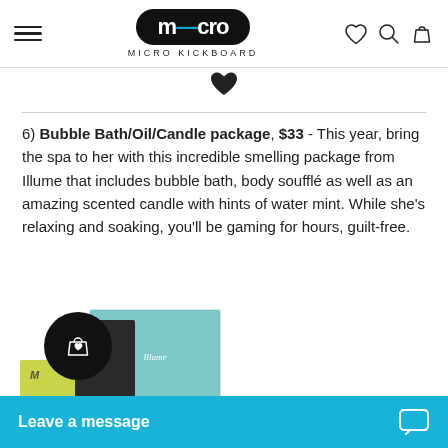MICRO KICKBOARD
6) Bubble Bath/Oil/Candle package, $33 - This year, bring the spa to her with this incredible smelling package from Illume that includes bubble bath, body soufflé as well as an amazing scented candle with hints of water mint. While she's relaxing and soaking, you'll be gaming for hours, guilt-free.
[Figure (photo): Product image of Illume bubble bath/oil/candle package with teal and patterned packaging]
Leave a message